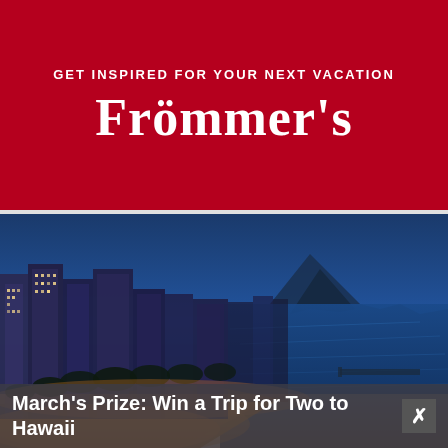GET INSPIRED FOR YOUR NEXT VACATION
Frommer's
[Figure (photo): Aerial night/dusk view of Waikiki Beach, Honolulu, Hawaii, showing hotels along the coast, Diamond Head crater in the background, and the ocean to the right. City lights illuminate the foreground with a blue twilight sky.]
March's Prize: Win a Trip for Two to Hawaii